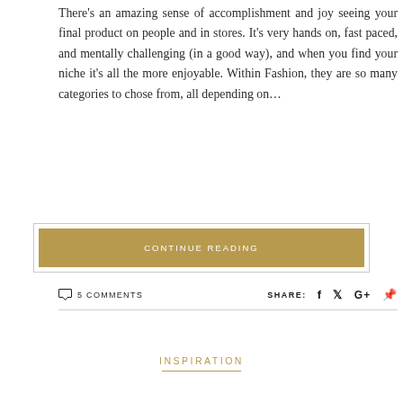There's an amazing sense of accomplishment and joy seeing your final product on people and in stores. It's very hands on, fast paced, and mentally challenging (in a good way), and when you find your niche it's all the more enjoyable. Within Fashion, they are so many categories to chose from, all depending on...
CONTINUE READING
5 COMMENTS
SHARE:
INSPIRATION